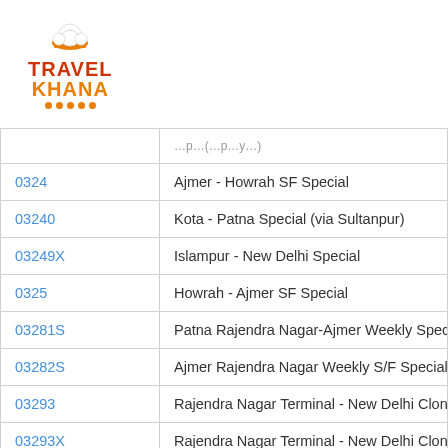[Figure (logo): TravelKhana logo with chef hat icon, red TRAVEL text, orange KHANA text, and orange dots underline]
|  |  |
| --- | --- |
| 0324 | Ajmer - Howrah SF Special |
| 03240 | Kota - Patna Special (via Sultanpur) |
| 03249X | Islampur - New Delhi Special |
| 0325 | Howrah - Ajmer SF Special |
| 03281S | Patna Rajendra Nagar-Ajmer Weekly Speci |
| 03282S | Ajmer Rajendra Nagar Weekly S/F Special |
| 03293 | Rajendra Nagar Terminal - New Delhi Clon |
| 03293X | Rajendra Nagar Terminal - New Delhi Clon |
| 03294 | New Delhi - Rajendra Nagar Terminal Clon |
| ... | New Delhi - Rajendra Nagar Terminal Clon |